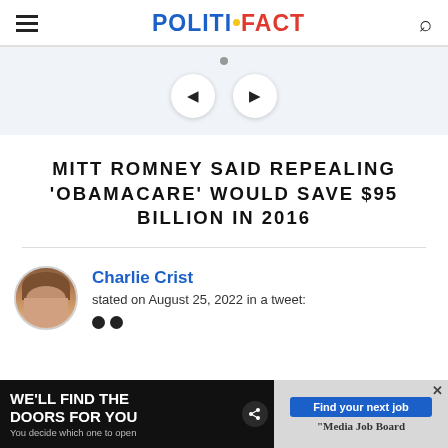POLITIFACT
[Figure (screenshot): Slider navigation area with dot indicator and left/right arrow buttons on light blue-gray background]
MITT ROMNEY SAID REPEALING 'OBAMACARE' WOULD SAVE $95 BILLION IN 2016
[Figure (photo): Circular portrait photo of Charlie Crist, an older man in a suit]
Charlie Crist
stated on August 25, 2022 in a tweet:
[Figure (infographic): Advertisement banner: 'WE'LL FIND THE DOORS FOR YOU / You decide which one to open' on left dark side; 'Find your next job / Media Job Board' on right gray side]